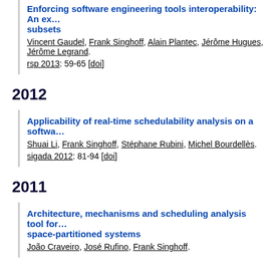Enforcing software engineering tools interoperability: An ex... subsets
Vincent Gaudel, Frank Singhoff, Alain Plantec, Jérôme Hugues, Jérôme Legrand.
rsp 2013: 59-65 [doi]
2012
Applicability of real-time schedulability analysis on a softwa...
Shuai Li, Frank Singhoff, Stéphane Rubini, Michel Bourdellès.
sigada 2012: 81-94 [doi]
2011
Architecture, mechanisms and scheduling analysis tool for... space-partitioned systems
João Craveiro, José Rufino, Frank Singhoff.